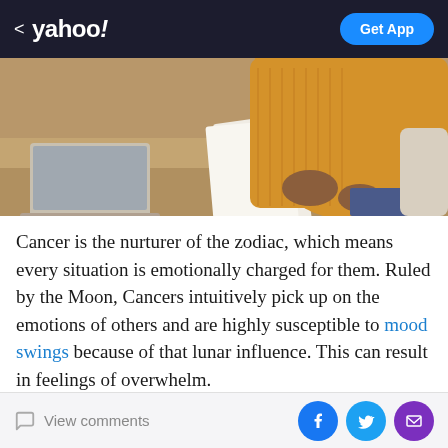< yahoo! | Get App
[Figure (photo): Person in yellow/mustard sweater sitting at a desk with a laptop, holding papers, in a bright interior setting.]
Cancer is the nurturer of the zodiac, which means every situation is emotionally charged for them. Ruled by the Moon, Cancers intuitively pick up on the emotions of others and are highly susceptible to mood swings because of that lunar influence. This can result in feelings of overwhelm.
"Because Cancer is so emotionally connected to their
View comments | [Facebook] [Twitter] [Email]